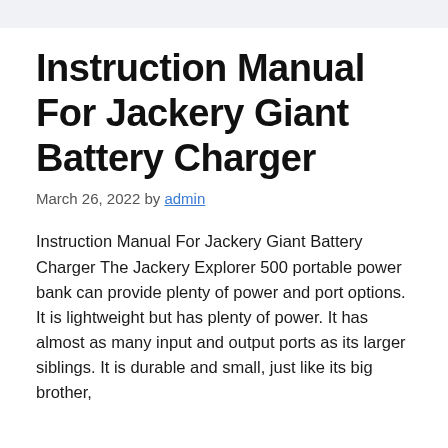Instruction Manual For Jackery Giant Battery Charger
March 26, 2022 by admin
Instruction Manual For Jackery Giant Battery Charger The Jackery Explorer 500 portable power bank can provide plenty of power and port options. It is lightweight but has plenty of power. It has almost as many input and output ports as its larger siblings. It is durable and small, just like its big brother,